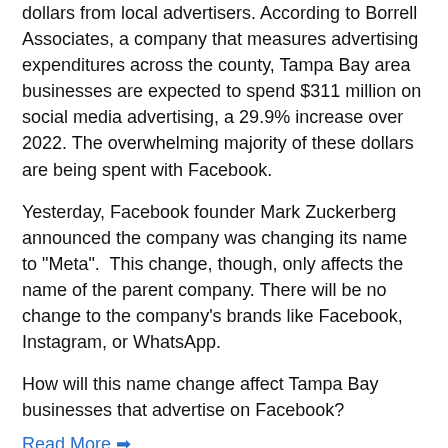dollars from local advertisers. According to Borrell Associates, a company that measures advertising expenditures across the county, Tampa Bay area businesses are expected to spend $311 million on social media advertising, a 29.9% increase over 2022. The overwhelming majority of these dollars are being spent with Facebook.
Yesterday, Facebook founder Mark Zuckerberg announced the company was changing its name to "Meta". This change, though, only affects the name of the parent company. There will be no change to the company's brands like Facebook, Instagram, or WhatsApp.
How will this name change affect Tampa Bay businesses that advertise on Facebook?
Read More →
0 Comments Click here to read/write comments
Topics tampa radio, facebook advertising